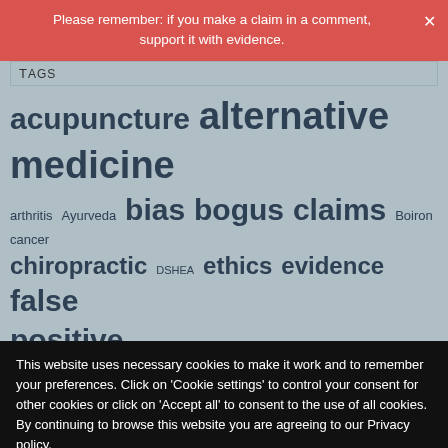Please remember: if you make a claim in a comment, support it with evidence.
Tags
acupuncture alternative medicine arthritis Ayurveda bias bogus claims Boiron cancer chiropractic DSHEA ethics evidence false positive FDA fritzsche future discoveries Heel herbal medicine holism homeopathy informed consent irrationality medical ethics
This website uses necessary cookies to make it work and to remember your preferences. Click on 'Cookie settings' to control your consent for other cookies or click on 'Accept all' to consent to the use of all cookies. By continuing to browse this website you are agreeing to our Privacy policy.
Accept all
Cookie settings
Privacy policy